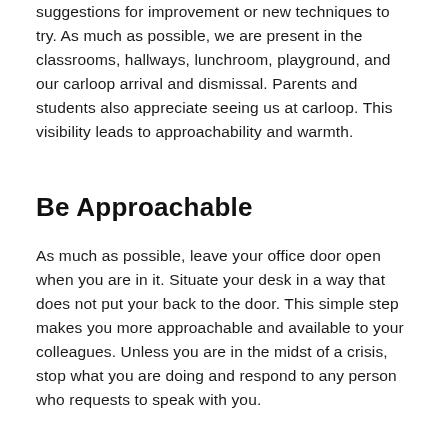suggestions for improvement or new techniques to try. As much as possible, we are present in the classrooms, hallways, lunchroom, playground, and our carloop arrival and dismissal. Parents and students also appreciate seeing us at carloop. This visibility leads to approachability and warmth.
Be Approachable
As much as possible, leave your office door open when you are in it. Situate your desk in a way that does not put your back to the door. This simple step makes you more approachable and available to your colleagues. Unless you are in the midst of a crisis, stop what you are doing and respond to any person who requests to speak with you.